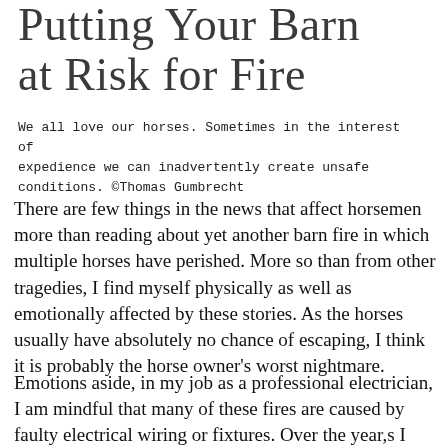Putting Your Barn at Risk for Fire
We all love our horses. Sometimes in the interest of expedience we can inadvertently create unsafe conditions. ©Thomas Gumbrecht
There are few things in the news that affect horsemen more than reading about yet another barn fire in which multiple horses have perished. More so than from other tragedies, I find myself physically as well as emotionally affected by these stories. As the horses usually have absolutely no chance of escaping, I think it is probably the horse owner's worst nightmare.
Emotions aside, in my job as a professional electrician, I am mindful that many of these fires are caused by faulty electrical wiring or fixtures. Over the year,s I have borne witness to my share of potential and actual hazards.